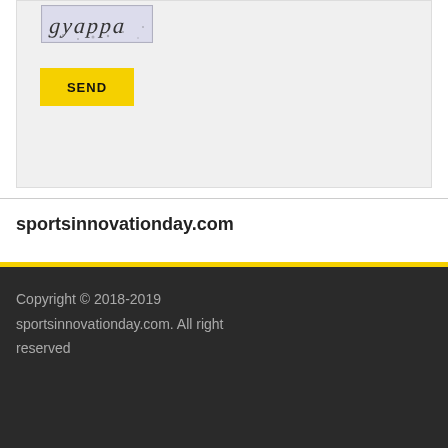[Figure (screenshot): CAPTCHA image showing distorted text on a light purple/lavender background]
SEND
sportsinnovationday.com
Copyright © 2018-2019 sportsinnovationday.com. All right reserved